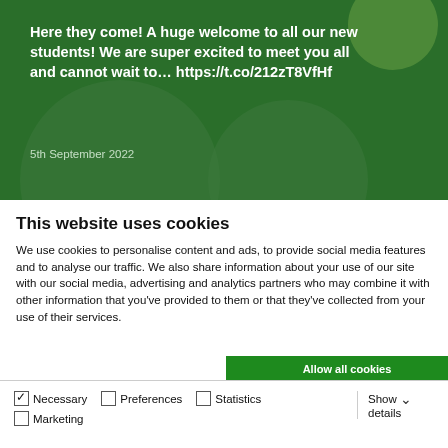[Figure (screenshot): Green banner with tweet text about welcoming new students, dated 5th September 2022]
Here they come! A huge welcome to all our new students! We are super excited to meet you all and cannot wait to… https://t.co/212zT8VfHf
5th September 2022
This website uses cookies
We use cookies to personalise content and ads, to provide social media features and to analyse our traffic. We also share information about your use of our site with our social media, advertising and analytics partners who may combine it with other information that you've provided to them or that they've collected from your use of their services.
Allow all cookies
Allow selection
Use necessary cookies only
✓ Necessary  ☐ Preferences  ☐ Statistics  ☐ Marketing  Show details ∨